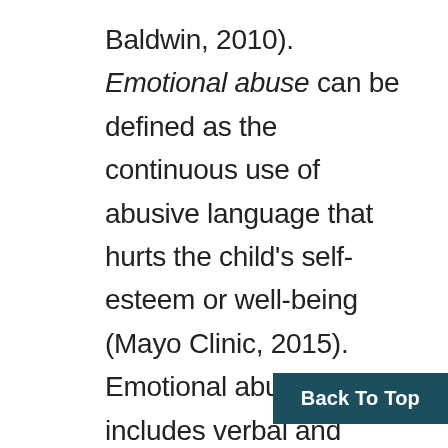Baldwin, 2010). Emotional abuse can be defined as the continuous use of abusive language that hurts the child's self-esteem or well-being (Mayo Clinic, 2015). Emotional abuse includes verbal and emotional assault, and isolating, ignoring, or rejecting a child (Mayo Clinic, 2015). Lack of empathy, warmth, and understanding also are associated with emotional abuse (McEachern, Aluede, & Kenny, 2008). A study conducted by Bryant and Milsom (2005) stated three-quarters of school counselors in the study felt sure of their ability to identify child physical abuse, but less so in their ability to recognize sexual and emotional abu difficulty in determining emotional abuse can
Back To Top